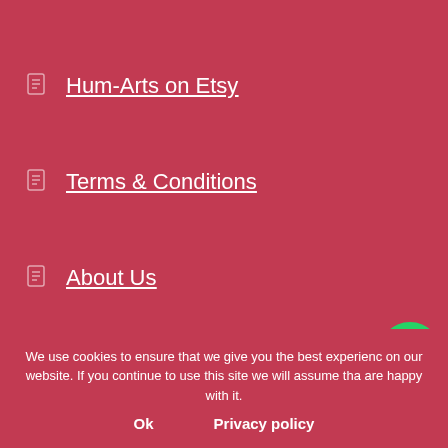Hum-Arts on Etsy
Terms & Conditions
About Us
We use cookies to ensure that we give you the best experience on our website. If you continue to use this site we will assume that you are happy with it.
Ok   Privacy policy